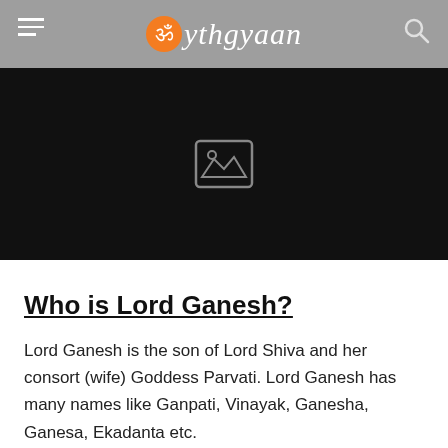mythgyaan
[Figure (photo): Hero image area showing a black placeholder with an image icon in the center]
Who is Lord Ganesh?
Lord Ganesh is the son of Lord Shiva and her consort (wife) Goddess Parvati. Lord Ganesh has many names like Ganpati, Vinayak, Ganesha, Ganesa, Ekadanta etc.